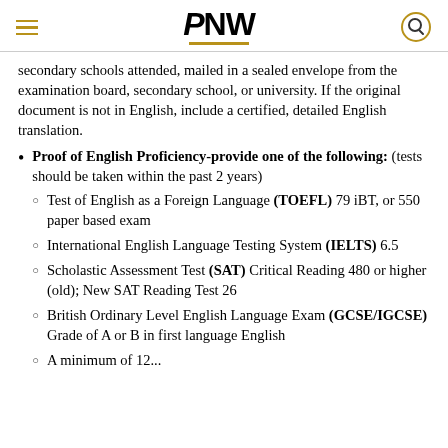PNW
secondary schools attended, mailed in a sealed envelope from the examination board, secondary school, or university. If the original document is not in English, include a certified, detailed English translation.
Proof of English Proficiency-provide one of the following: (tests should be taken within the past 2 years)
Test of English as a Foreign Language (TOEFL) 79 iBT, or 550 paper based exam
International English Language Testing System (IELTS) 6.5
Scholastic Assessment Test (SAT) Critical Reading 480 or higher (old); New SAT Reading Test 26
British Ordinary Level English Language Exam (GCSE/IGCSE) Grade of A or B in first language English
A minimum of 12...